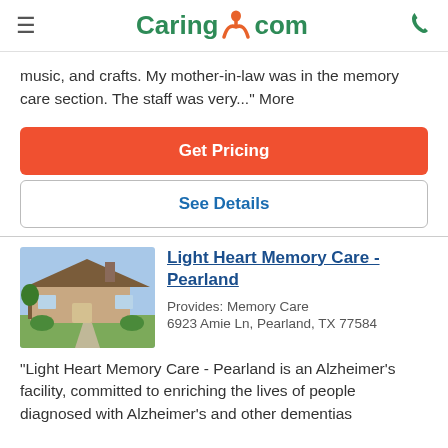Caring.com
music, and crafts. My mother-in-law was in the memory care section. The staff was very..." More
Get Pricing
See Details
Light Heart Memory Care - Pearland
Provides: Memory Care
6923 Amie Ln, Pearland, TX 77584
"Light Heart Memory Care - Pearland is an Alzheimer's facility, committed to enriching the lives of people diagnosed with Alzheimer's and other dementias